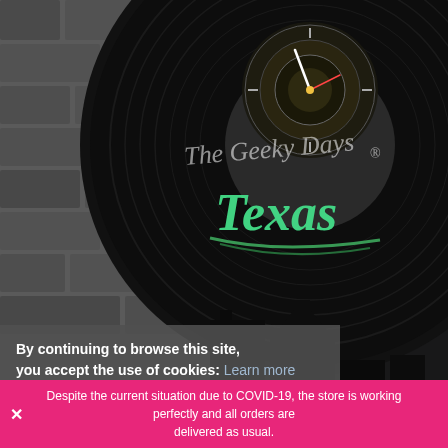[Figure (photo): A Texas-themed vinyl record wall clock with glowing green 'Texas' lettering and clock face visible at center top, displayed against a stone/brick wall background. Black silhouette of Texas city skyline at bottom. Brand watermark 'The Geeky Days ®' visible on the vinyl.]
By continuing to browse this site, you accept the use of cookies: Learn more
Despite the current situation due to COVID-19, the store is working perfectly and all orders are delivered as usual.